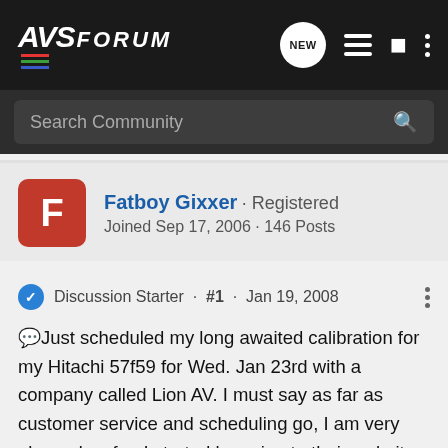AVS FORUM
Search Community
Fatboy Gixxer · Registered
Joined Sep 17, 2006 · 146 Posts
Discussion Starter · #1 · Jan 19, 2008
Just scheduled my long awaited calibration for my Hitachi 57f59 for Wed. Jan 23rd with a company called Lion AV. I must say as far as customer service and scheduling go, I am very pleased so far. I started by going to their website and booking a calibration, I was then promptly contacted and able to schedule the calibration during one of my days off. Gregg Lowen, who will perform my service, was very mannerable and gave me specific instructions in which to prepare ("cut out" my ambient light). His testimonials seem to hold him at high regard. I'll post more after the service along with before and after